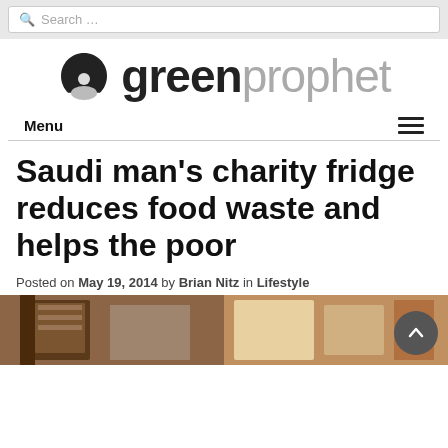Search …
[Figure (logo): Green Prophet logo with stylized arch icon and greenprophet wordmark]
Menu
Saudi man's charity fridge reduces food waste and helps the poor
Posted on May 19, 2014 by Brian Nitz in Lifestyle
[Figure (photo): Two photos side by side showing a charity fridge]